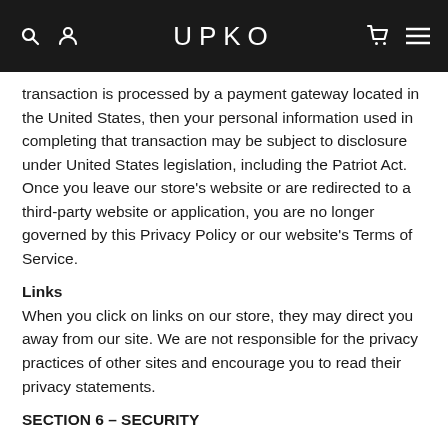UPKO
transaction is processed by a payment gateway located in the United States, then your personal information used in completing that transaction may be subject to disclosure under United States legislation, including the Patriot Act. Once you leave our store's website or are redirected to a third-party website or application, you are no longer governed by this Privacy Policy or our website's Terms of Service.
Links
When you click on links on our store, they may direct you away from our site. We are not responsible for the privacy practices of other sites and encourage you to read their privacy statements.
SECTION 6 – SECURITY